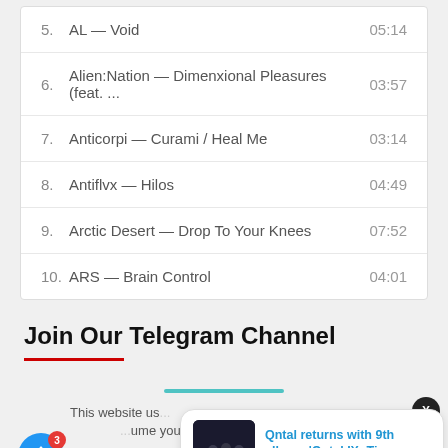| # | Track | Duration |
| --- | --- | --- |
| 5. | AL — Void | 05:14 |
| 6. | Alien:Nation — Dimenxional Pleasures (feat. ... | 03:57 |
| 7. | Anticorpi — Curami / Heal Me | 03:14 |
| 8. | Antiflvx — Hilos | 04:49 |
| 9. | Arctic Desert — Drop To Your Knees | 07:52 |
| 10. | ARS — Brain Control | 04:01 |
Join Our Telegram Channel
This website us...ume you're...Cookie settings...ACCEPT
[Figure (screenshot): Notification popup with album art image showing dark figures, title 'Qntal returns with 9th album, Qntal IX: Time', timestamp '48 minutes ago']